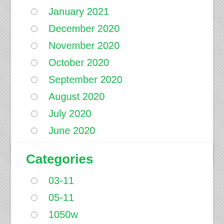January 2021
December 2020
November 2020
October 2020
September 2020
August 2020
July 2020
June 2020
May 2020
Categories
03-11
05-11
1050w
10inch
110v